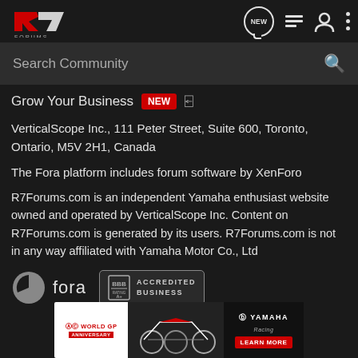R7 Forums — header navigation bar with logo, NEW chat icon, list icon, user icon, more icon
Search Community
Grow Your Business NEW
VerticalScope Inc., 111 Peter Street, Suite 600, Toronto, Ontario, M5V 2H1, Canada
The Fora platform includes forum software by XenForo
R7Forums.com is an independent Yamaha enthusiast website owned and operated by VerticalScope Inc. Content on R7Forums.com is generated by its users. R7Forums.com is not in any way affiliated with Yamaha Motor Co., Ltd
[Figure (logo): Fora logo (grey circle with cutout and fora text)]
[Figure (logo): BBB Accredited Business badge]
[Figure (photo): Yamaha advertisement banner showing 60th World GP anniversary, racing motorcycles, Yamaha logo, and LEARN MORE button]